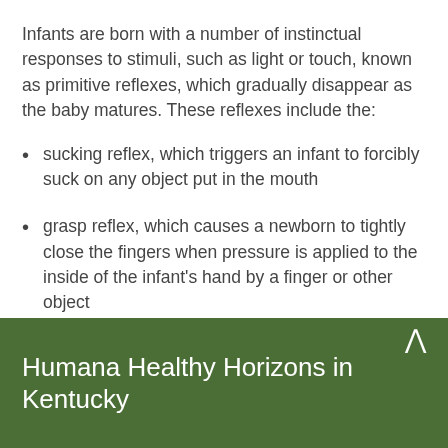Infants are born with a number of instinctual responses to stimuli, such as light or touch, known as primitive reflexes, which gradually disappear as the baby matures. These reflexes include the:
sucking reflex, which triggers an infant to forcibly suck on any object put in the mouth
grasp reflex, which causes a newborn to tightly close the fingers when pressure is applied to the inside of the infant's hand by a finger or other object
Humana Healthy Horizons in Kentucky